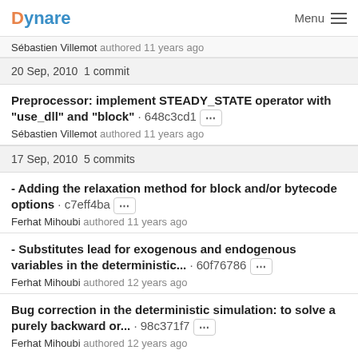Dynare  Menu
Sébastien Villemot authored 11 years ago
20 Sep, 2010 1 commit
Preprocessor: implement STEADY_STATE operator with "use_dll" and "block" · 648c3cd1 [...] Sébastien Villemot authored 11 years ago
17 Sep, 2010 5 commits
- Adding the relaxation method for block and/or bytecode options · c7eff4ba [...] Ferhat Mihoubi authored 11 years ago
- Substitutes lead for exogenous and endogenous variables in the deterministic... · 60f76786 [...] Ferhat Mihoubi authored 12 years ago
Bug correction in the deterministic simulation: to solve a purely backward or... · 98c371f7 [...] Ferhat Mihoubi authored 12 years ago